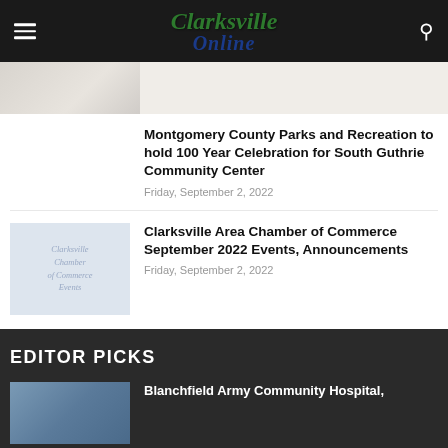Clarksville Online
[Figure (photo): Partial thumbnail image at top, cropped]
Montgomery County Parks and Recreation to hold 100 Year Celebration for South Guthrie Community Center
Friday, September 2, 2022
[Figure (illustration): Clarksville Chamber of Commerce Events thumbnail placeholder]
Clarksville Area Chamber of Commerce September 2022 Events, Announcements
Friday, September 2, 2022
EDITOR PICKS
[Figure (photo): Blanchfield Army Community Hospital thumbnail]
Blanchfield Army Community Hospital,